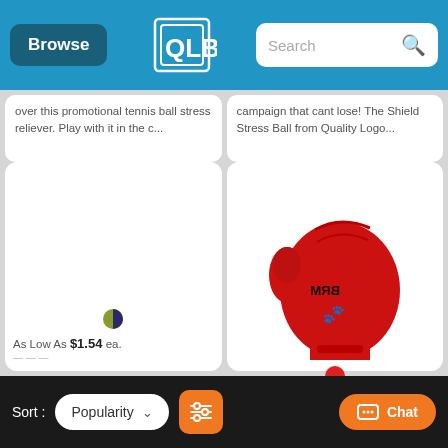Browse | Quality Logo Products | Search
over this promotional tennis ball stress reliever. Play with it in the c...
campaign that cant lose! The Shield Stress Ball from Quality Logo...
[Figure (photo): Left product card with olive/dark color swatch, price As Low As $1.54 ea.]
[Figure (photo): Red boxing glove stress ball with BRM logo imprint, red color swatch, price As Low As $1.32 ea.]
Sort: Popularity | Filter | Chat